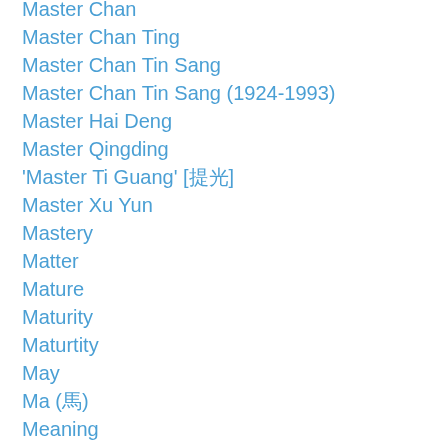Master Chan
Master Chan Ting
Master Chan Tin Sang
Master Chan Tin Sang (1924-1993)
Master Hai Deng
Master Qingding
'Master Ti Guang' [提光]
Master Xu Yun
Mastery
Matter
Mature
Maturity
Maturtity
May
Ma (馬)
Meaning
Medical
Medicine
Medieval Japan
Meditation
Medium